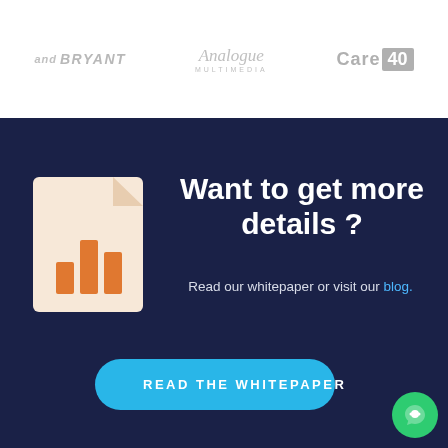[Figure (logo): Three company logos in a white header bar: Mitchell and Bryant, Analogue Multimedia, Care 40]
[Figure (illustration): Dark navy blue section with a document/report icon (peach background with orange bar chart), heading 'Want to get more details?', subtitle 'Read our whitepaper or visit our blog.', and a cyan 'READ THE WHITEPAPER' button]
Want to get more details ?
Read our whitepaper or visit our blog.
READ THE WHITEPAPER